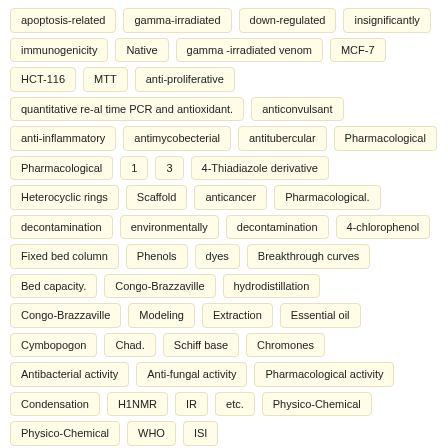apoptosis-related
gamma-irradiated
down-regulated
insignificantly
immunogenicity
Native
gamma -irradiated venom
MCF-7
HCT-116
MTT
anti-proliferative
quantitative re-al time PCR and antioxidant.
anticonvulsant
anti-inflammatory
antimycobecterial
antitubercular
Pharmacological
Pharmacological
1
3
4-Thiadiazole derivative
Heterocyclic rings
Scaffold
anticancer
Pharmacological.
decontamination
environmentally
decontamination
4-chlorophenol
Fixed bed column
Phenols
dyes
Breakthrough curves
Bed capacity.
Congo-Brazzaville
hydrodistillation
Congo-Brazzaville
Modeling
Extraction
Essential oil
Cymbopogon
Chad.
Schiff base
Chromones
Antibacterial activity
Anti-fungal activity
Pharmacological activity
Condensation
H1NMR
IR
etc.
Physico-Chemical
Physico-Chemical
WHO
ISI